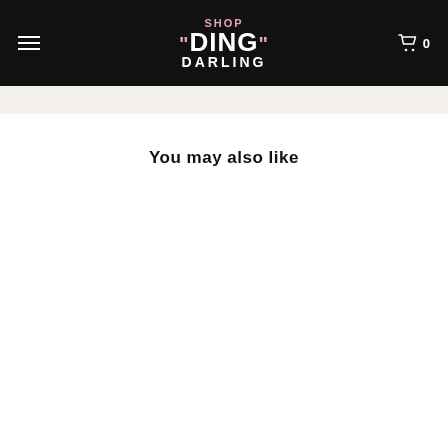SHOP "DING" DARLING
You may also like